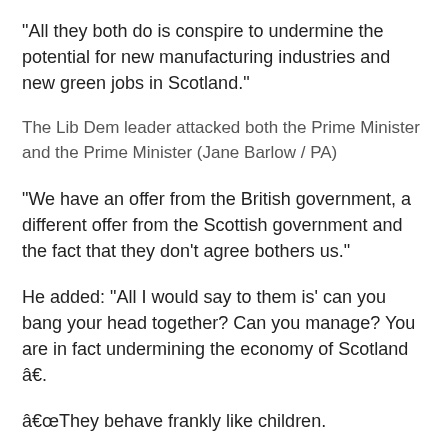“All they both do is conspire to undermine the potential for new manufacturing industries and new green jobs in Scotland.”
The Lib Dem leader attacked both the Prime Minister and the Prime Minister (Jane Barlow / PA)
“We have an offer from the British government, a different offer from the Scottish government and the fact that they don’t agree bothers us.”
He added: “All I would say to them is’ can you bang your head together? Can you manage? You are in fact undermining the economy of Scotland â€š.
â€They behave frankly like children.
â€They are playing with their base as they fail to come together to keep the planet from burning.